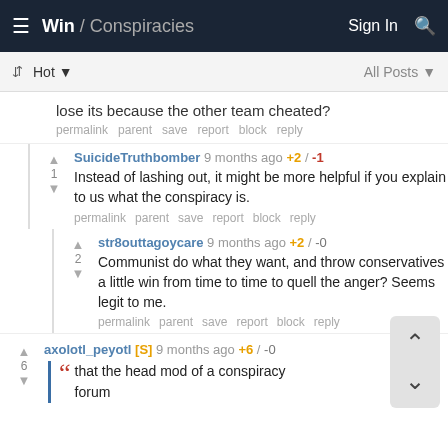Win / Conspiracies   Sign In
lose its because the other team cheated?
permalink  parent  save  report  block  reply
SuicideTruthbomber 9 months ago +2 / -1
Instead of lashing out, it might be more helpful if you explain to us what the conspiracy is.
permalink  parent  save  report  block  reply
str8outtagoycare 9 months ago +2 / -0
Communist do what they want, and throw conservatives a little win from time to time to quell the anger? Seems legit to me.
permalink  parent  save  report  block  reply
axolotl_peyotl [S] 9 months ago +6 / -0
““ that the head mod of a conspiracy forum